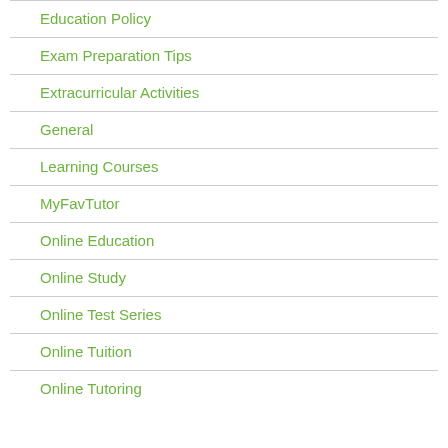Education Policy
Exam Preparation Tips
Extracurricular Activities
General
Learning Courses
MyFavTutor
Online Education
Online Study
Online Test Series
Online Tuition
Online Tutoring